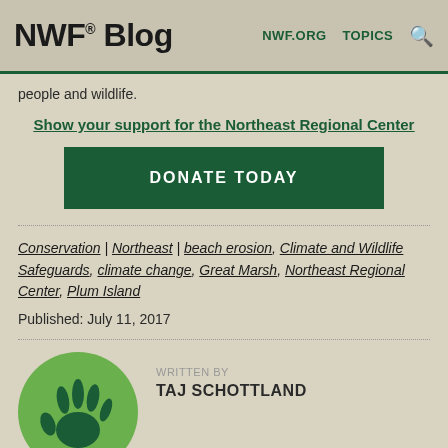NWF® Blog  NWF.ORG  TOPICS
people and wildlife.
Show your support for the Northeast Regional Center
[Figure (other): Dark green donate button with text DONATE TODAY]
Conservation | Northeast | beach erosion, Climate and Wildlife Safeguards, climate change, Great Marsh, Northeast Regional Center, Plum Island
Published: July 11, 2017
[Figure (illustration): Green circular avatar with NWF animal track logo]
WRITTEN BY
TAJ SCHOTTLAND